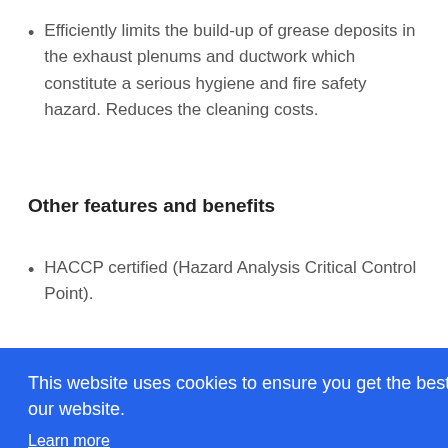Efficiently limits the build-up of grease deposits in the exhaust plenums and ductwork which constitute a serious hygiene and fire safety hazard. Reduces the cleaning costs.
Other features and benefits
HACCP certified (Hazard Analysis Critical Control Point).
This website uses cookies to ensure you get the best experience on our website. Learn more Got it!